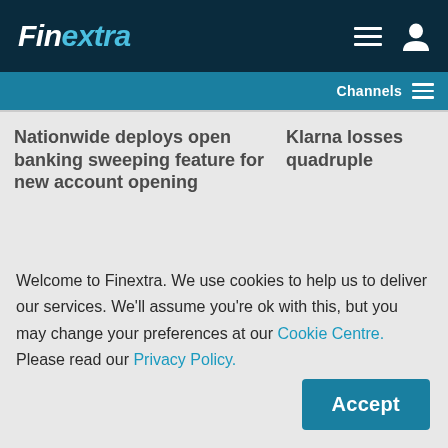Finextra
Channels
Nationwide deploys open banking sweeping feature for new account opening
Klarna losses quadruple
Welcome to Finextra. We use cookies to help us to deliver our services. We'll assume you're ok with this, but you may change your preferences at our Cookie Centre. Please read our Privacy Policy.
Accept